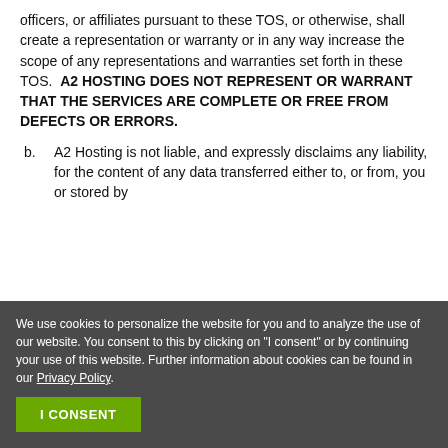officers, or affiliates pursuant to these TOS, or otherwise, shall create a representation or warranty or in any way increase the scope of any representations and warranties set forth in these TOS.  A2 HOSTING DOES NOT REPRESENT OR WARRANT THAT THE SERVICES ARE COMPLETE OR FREE FROM DEFECTS OR ERRORS.
b. A2 Hosting is not liable, and expressly disclaims any liability, for the content of any data transferred either to, or from, you or stored by
We use cookies to personalize the website for you and to analyze the use of our website. You consent to this by clicking on "I consent" or by continuing your use of this website. Further information about cookies can be found in our Privacy Policy.